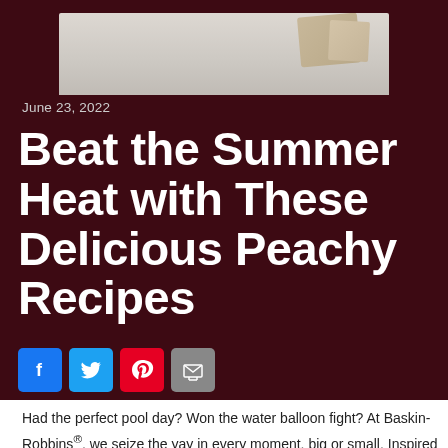[Figure (photo): Partial product image at top of page against light background]
June 23, 2022
Beat the Summer Heat with These Delicious Peachy Recipes
[Figure (infographic): Social media share icons: Facebook, Twitter, Pinterest, Email]
Had the perfect pool day? Won the water balloon fight? At Baskin-Robbins®, we seize the yay in every moment, big or small. Inspired by the sweet signs of summertime, our Baskin-Robbins Research & Development team created two mouthwatering recipes featuring our new